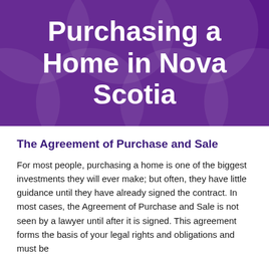Purchasing a Home in Nova Scotia
The Agreement of Purchase and Sale
For most people, purchasing a home is one of the biggest investments they will ever make; but often, they have little guidance until they have already signed the contract. In most cases, the Agreement of Purchase and Sale is not seen by a lawyer until after it is signed. This agreement forms the basis of your legal rights and obligations and must be